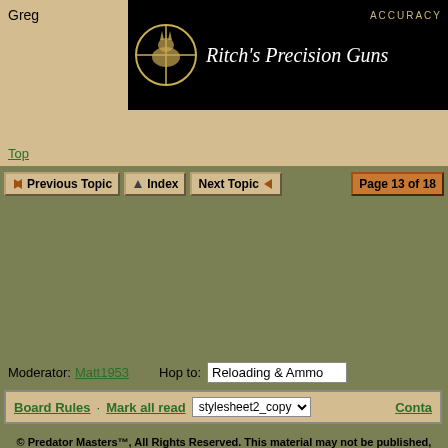Greg
[Figure (logo): Ritch's Precision Guns banner with coyote/crosshair logo and text 'ACCURACY' and 'Ritch’s Precision Guns']
Top
Previous Topic | Index | Next Topic | Page 13 of 18
Moderator: Matt1953   Hop to: Reloading & Ammo
Board Rules · Mark all read  stylesheet2_copy  Conta...
© Predator Masters™, All Rights Reserved. This material may not be published, broadcast, rewritten, or redistributed. Powered by UBB.threads™ PHP Forum Software 7.5.6p2